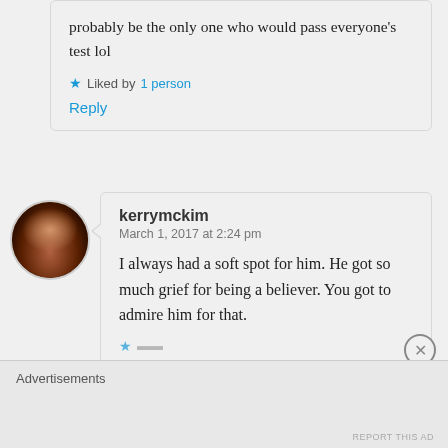probably be the only one who would pass everyone's test lol
Liked by 1 person
Reply
kerrymckim
March 1, 2017 at 2:24 pm
I always had a soft spot for him. He got so much grief for being a believer. You got to admire him for that.
Advertisements